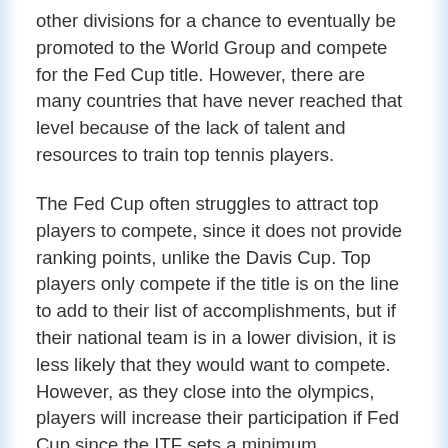other divisions for a chance to eventually be promoted to the World Group and compete for the Fed Cup title. However, there are many countries that have never reached that level because of the lack of talent and resources to train top tennis players.
The Fed Cup often struggles to attract top players to compete, since it does not provide ranking points, unlike the Davis Cup. Top players only compete if the title is on the line to add to their list of accomplishments, but if their national team is in a lower division, it is less likely that they would want to compete. However, as they close into the olympics, players will increase their participation if Fed Cup since the ITF sets a minimum requirement to be allowed to participate in olympic competition.